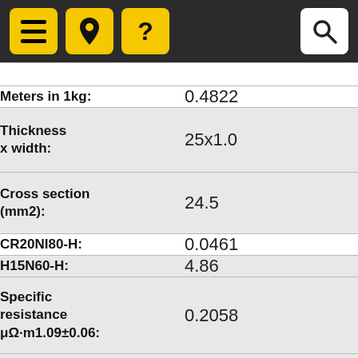[Figure (screenshot): Mobile navigation bar with hamburger menu, location pin icon, question mark icon (all on yellow backgrounds), and a search icon on white background, all on a dark background.]
| Meters in 1kg: | 0.4822 |
| Thickness x width: | 25x1.0 |
| Cross section (mm2): | 24.5 |
| CR20NI80-H: | 0.0461 |
| H15N60-H: | 4.86 |
| Specific resistance μΩ·m1.09±0.06: | 0.2058 |
| Specific... |  |